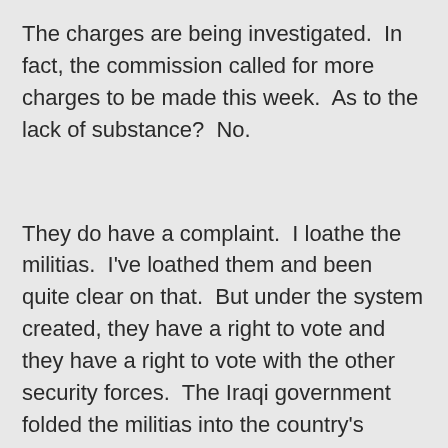The charges are being investigated.  In fact, the commission called for more charges to be made this week.  As to the lack of substance?  No.
They do have a complaint.  I loathe the militias.  I've loathed them and been quite clear on that.  But under the system created, they have a right to vote and they have a right to vote with the other security forces.  The Iraqi government folded the militias into the country's official security forces.  It was a stupid move and we called it out for years, starting with the first time it was proposed.  But it did come to be -- and we still called it out and still do -- so it is the system.
The militias had to provide security on October 10th to protect the voters.  They were deployed around the